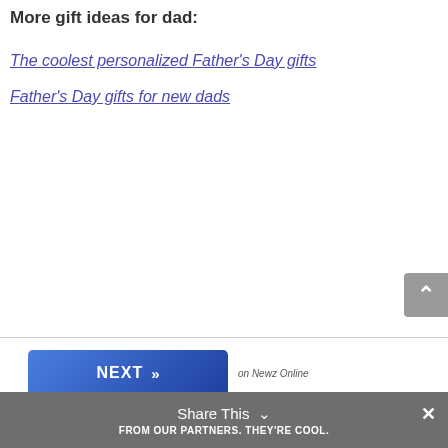More gift ideas for dad:
The coolest personalized Father's Day gifts
Father's Day gifts for new dads
[Figure (other): NEXT button with double chevron arrows, labeled 'on Newz Online']
[Figure (other): Scroll to top button (grey, upward caret)]
Share This  ✓  ×  FROM OUR PARTNERS. THEY'RE COOL.